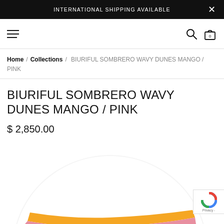INTERNATIONAL SHIPPING AVAILABLE
Home / Collections / BIURIFUL SOMBRERO WAVY DUNES MANGO / PINK
BIURIFUL SOMBRERO WAVY DUNES MANGO / PINK
$ 2,850.00
[Figure (photo): Partial view of a white sombrero hat with mango/yellow and pink wavy stripes at the bottom edge]